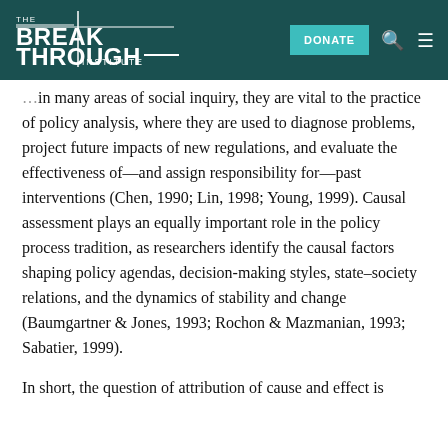THE BREAKTHROUGH INSTITUTE
in many areas of social inquiry, they are vital to the practice of policy analysis, where they are used to diagnose problems, project future impacts of new regulations, and evaluate the effectiveness of—and assign responsibility for—past interventions (Chen, 1990; Lin, 1998; Young, 1999). Causal assessment plays an equally important role in the policy process tradition, as researchers identify the causal factors shaping policy agendas, decision-making styles, state–society relations, and the dynamics of stability and change (Baumgartner & Jones, 1993; Rochon & Mazmanian, 1993; Sabatier, 1999).
In short, the question of attribution of cause and effect is